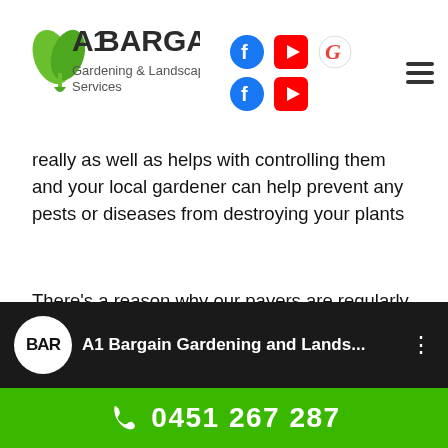A1 Bargain Gardening & Landscaping Services
really as well as helps with controlling them and your local gardener can help prevent any pests or diseases from destroying your plants
There's a reason why our pavers are regularly used by architects, professional landscapers, builders, and other paving contractors throughout Glebe. When you visit one of our showrooms and go through our samples, you'll be able to see the reason why! The quality of our pavers is second to none. Check our official YouTube Page for some of our works!
[Figure (screenshot): YouTube video thumbnail showing A1 Bargain Gardening and Landscaping channel]
0451 267 287